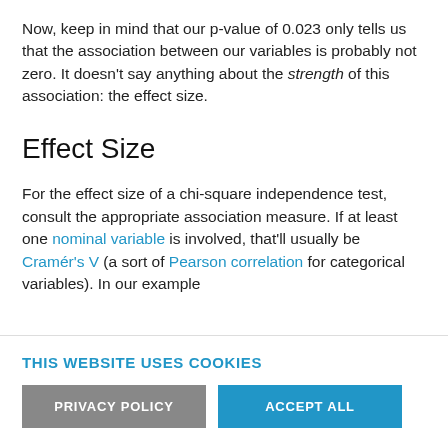Now, keep in mind that our p-value of 0.023 only tells us that the association between our variables is probably not zero. It doesn't say anything about the strength of this association: the effect size.
Effect Size
For the effect size of a chi-square independence test, consult the appropriate association measure. If at least one nominal variable is involved, that'll usually be Cramér's V (a sort of Pearson correlation for categorical variables). In our example
THIS WEBSITE USES COOKIES
PRIVACY POLICY
ACCEPT ALL